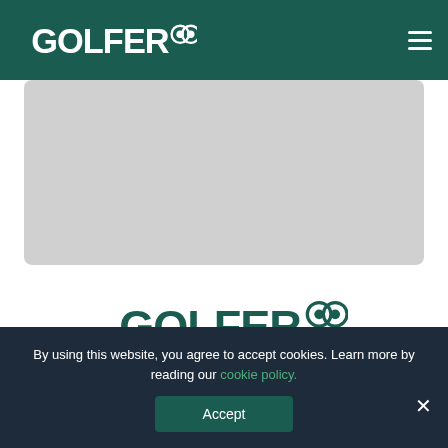IRISH GOLFER logo and navigation bar
[Figure (photo): Gray placeholder image area below the header navigation bar]
[Figure (logo): Irish Golfer logo centered on white background]
Stay ahead of the game. Subscribe to our newsletter to
By using this website, you agree to accept cookies. Learn more by reading our cookie policy.
Accept